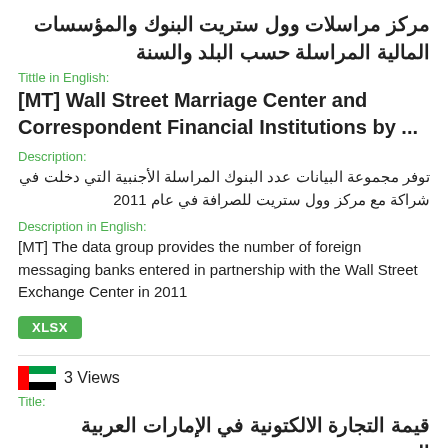مركز مراسلات وول ستريت البنوك والمؤسسات المالية المراسلة حسب البلد والسنة
Tittle in English:
[MT] Wall Street Marriage Center and Correspondent Financial Institutions by ...
Description:
توفر مجموعة البيانات عدد البنوك المراسلة الأجنبية التي دخلت في شراكة مع مركز وول ستريت للصرافة في عام 2011
Description in English:
[MT] The data group provides the number of foreign messaging banks entered in partnership with the Wall Street Exchange Center in 2011
XLSX
3 Views
Title:
قيمة التجارة الالكتونية في الإمارات العربية المتحدة
Tittle in English: